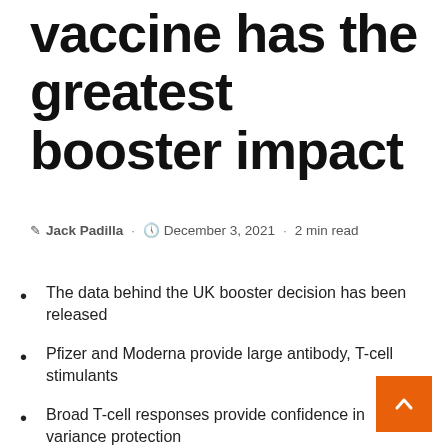vaccine has the greatest booster impact
Jack Padilla · December 3, 2021 · 2 min read
The data behind the UK booster decision has been released
Pfizer and Moderna provide large antibody, T-cell stimulants
Broad T-cell responses provide confidence in variance protection